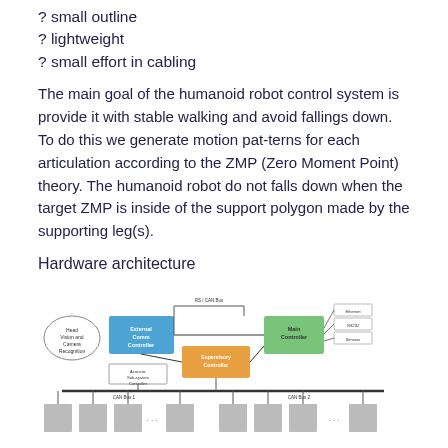? small outline
? lightweight
? small effort in cabling
The main goal of the humanoid robot control system is provide it with stable walking and avoid fallings down. To do this we generate motion pat-terns for each articulation according to the ZMP (Zero Moment Point) theory. The humanoid robot do not falls down when the target ZMP is inside of the support polygon made by the supporting leg(s).
Hardware architecture
Figure 1 shows an overview of the hardware structure. Presented architecture is provided with large level of scalability and modularity by dividing the hardware system into three basic layers. Each layer is represented as a controller centered on its own task such as external communications, motion controller?s network supervision, and general control.
[Figure (engineering-diagram): Hardware architecture block diagram showing layered controller system with External Communications Controller (blue), Supervisory Controller (orange), Main Controller (green), and CAN Bus connections to multiple motor/servo nodes at the bottom.]